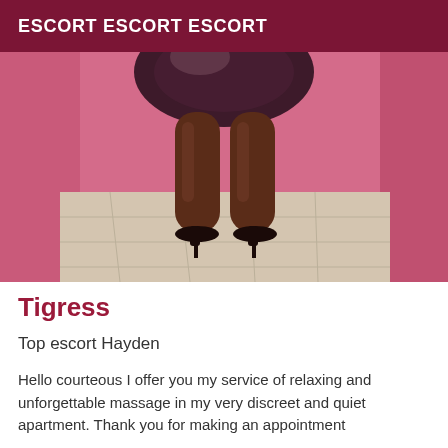ESCORT ESCORT ESCORT
[Figure (photo): Person from behind wearing a dark metallic mini skirt and high heels, standing in a pink-walled room with tiled floor.]
Tigress
Top escort Hayden
Hello courteous I offer you my service of relaxing and unforgettable massage in my very discreet and quiet apartment. Thank you for making an appointment